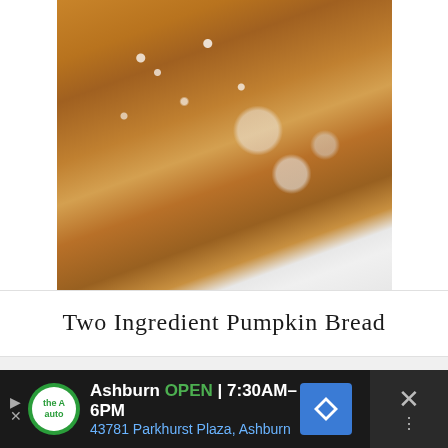[Figure (photo): Close-up photo of pumpkin bread slices with powdered sugar on a white surface]
Two Ingredient Pumpkin Bread
ARCHIVES
Select Month
[Figure (screenshot): Advertisement bar for Ashburn auto shop: OPEN 7:30AM-6PM, 43781 Parkhurst Plaza, Ashburn]